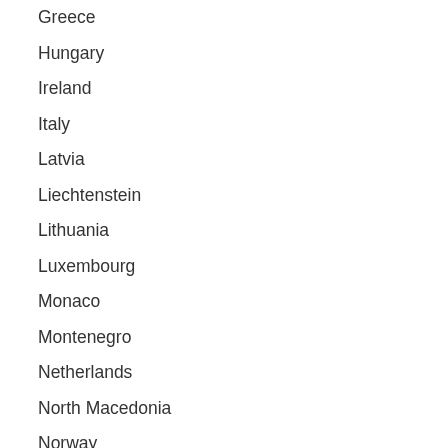Greece
Hungary
Ireland
Italy
Latvia
Liechtenstein
Lithuania
Luxembourg
Monaco
Montenegro
Netherlands
North Macedonia
Norway
Poland
Portugal
Romania
Russian Federation
Serbia
Slovakia